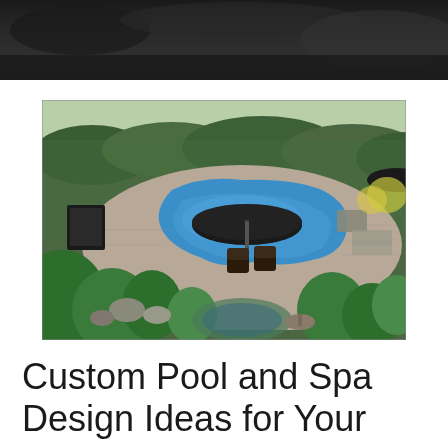[Figure (photo): Dark banner image at top of page showing a blurred outdoor/aerial scene with dark tones]
[Figure (photo): Aerial view of a custom backyard swimming pool with freeform shape and blue water, surrounded by stone pavers, patio furniture with a large dark umbrella, lush green landscaping with shrubs and rocks, and outdoor seating areas]
Custom Pool and Spa Design Ideas for Your Home